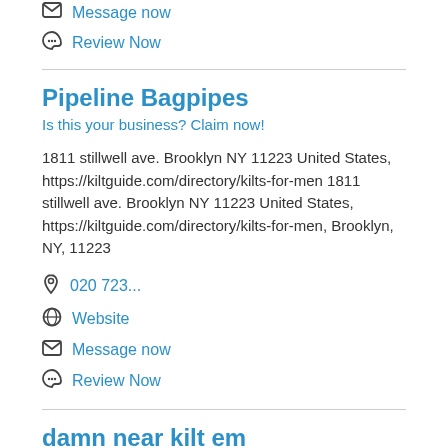Message now
Review Now
Pipeline Bagpipes
Is this your business? Claim now!
1811 stillwell ave. Brooklyn NY 11223 United States, https://kiltguide.com/directory/kilts-for-men 1811 stillwell ave. Brooklyn NY 11223 United States, https://kiltguide.com/directory/kilts-for-men, Brooklyn, NY, 11223
020 723...
Website
Message now
Review Now
damn near kilt em